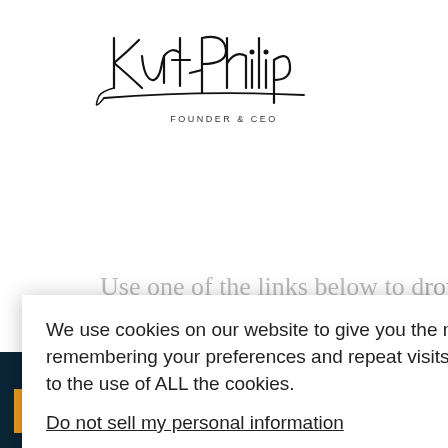[Figure (illustration): Handwritten cursive signature reading 'Kurt Philip' with 'FOUNDER & CEO' text below in small caps]
Use one of the links below to drop me a
We use cookies on our website to give you the most relevant experience by remembering your preferences and repeat visits. By clicking “Accept”, you consent to the use of ALL the cookies.

Do not sell my personal information.

[Cookie Settings] [Accept]
We’ll increase your conversions by 20-100%
CLAIM YOUR FREE AUDIT NOW